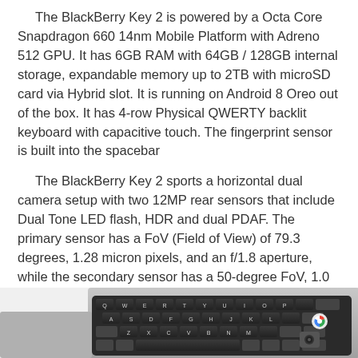The BlackBerry Key 2 is powered by a Octa Core Snapdragon 660 14nm Mobile Platform with Adreno 512 GPU. It has 6GB RAM with 64GB / 128GB internal storage, expandable memory up to 2TB with microSD card via Hybrid slot. It is running on Android 8 Oreo out of the box. It has 4-row Physical QWERTY backlit keyboard with capacitive touch. The fingerprint sensor is built into the spacebar
The BlackBerry Key 2 sports a horizontal dual camera setup with two 12MP rear sensors that include Dual Tone LED flash, HDR and dual PDAF. The primary sensor has a FoV (Field of View) of 79.3 degrees, 1.28 micron pixels, and an f/1.8 aperture, while the secondary sensor has a 50-degree FoV, 1.0 micron pixels, and f/2.6 aperture. The rear camera can record 4K video at 30fps. You will get a 8MP fixed focus front-facing camera. The front-facing camera can record full HD videos.
[Figure (photo): Photo of BlackBerry Key 2 smartphone showing the physical QWERTY keyboard from an angle, with Chrome and camera app icons visible.]